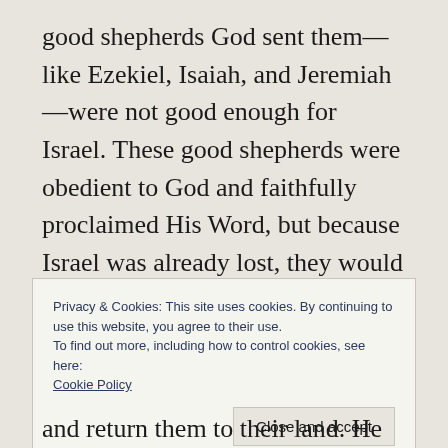good shepherds God sent them—like Ezekiel, Isaiah, and Jeremiah—were not good enough for Israel. These good shepherds were obedient to God and faithfully proclaimed His Word, but because Israel was already lost, they would not listen to their prophets—these good shepherds.
Privacy & Cookies: This site uses cookies. By continuing to use this website, you agree to their use.
To find out more, including how to control cookies, see here:
Cookie Policy
Close and accept
and return them to their land. He fulfilled this